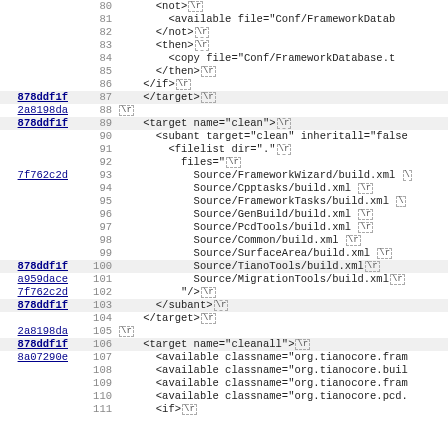Source code diff view with line numbers 80-111, showing XML build script content with commit hashes